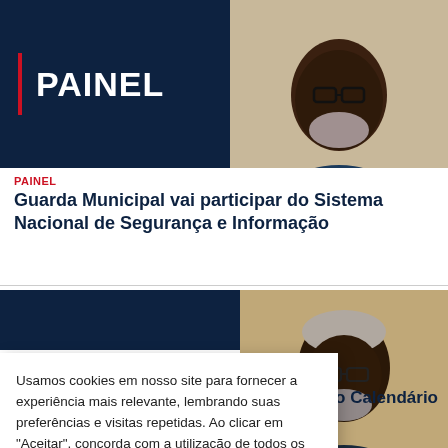[Figure (photo): Top banner with dark navy background showing PAINEL logo on left with red vertical bar, and a photo of a Black man with glasses and white beard on the right]
PAINEL
Guarda Municipal vai participar do Sistema Nacional de Segurança e Informação
[Figure (photo): Second article banner partially visible - dark navy header on left, photo of older Black man with white hair and glasses on right]
Usamos cookies em nosso site para fornecer a experiência mais relevante, lembrando suas preferências e visitas repetidas. Ao clicar em "Aceitar", concorda com a utilização de todos os cookies.
Aceitar   Leia mais
o Calendário
Oficial de Juiz de Fora